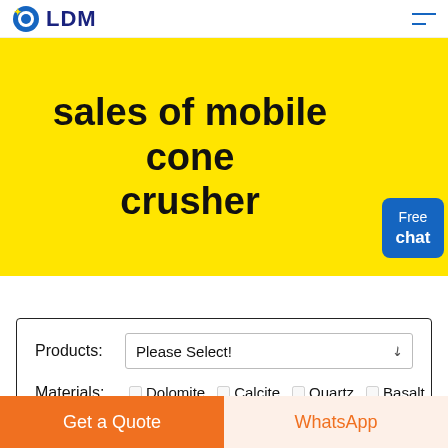LDM
sales of mobile cone crusher
[Figure (illustration): Free chat button with person illustration in yellow banner]
Products: Please Select!
Materials: □ Dolomite □ Calcite □ Quartz □ Basalt
Get a Quote
WhatsApp